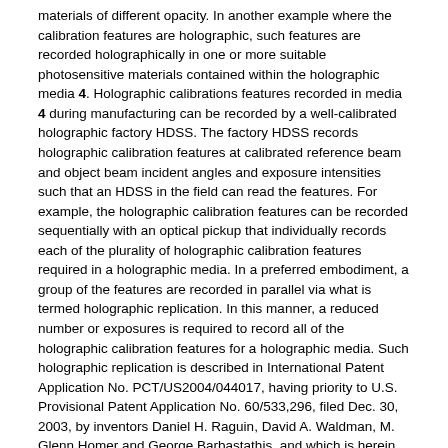materials of different opacity. In another example where the calibration features are holographic, such features are recorded holographically in one or more suitable photosensitive materials contained within the holographic media 4. Holographic calibrations features recorded in media 4 during manufacturing can be recorded by a well-calibrated holographic factory HDSS. The factory HDSS records holographic calibration features at calibrated reference beam and object beam incident angles and exposure intensities such that an HDSS in the field can read the features. For example, the holographic calibration features can be recorded sequentially with an optical pickup that individually records each of the plurality of holographic calibration features required in a holographic media. In a preferred embodiment, a group of the features are recorded in parallel via what is termed holographic replication. In this manner, a reduced number or exposures is required to record all of the holographic calibration features for a holographic media. Such holographic replication is described in International Patent Application No. PCT/US2004/044017, having priority to U.S. Provisional Patent Application No. 60/533,296, filed Dec. 30, 2003, by inventors Daniel H. Raguin, David A. Waldman, M. Glenn Homer and George Barbastathis, and which is herein incorporated by reference. In a preferred embodiment, a single exposure is required to record the holographic calibration features required for one or more holographic media.
The formatting can be such that an HDSS with the appropriate embedded